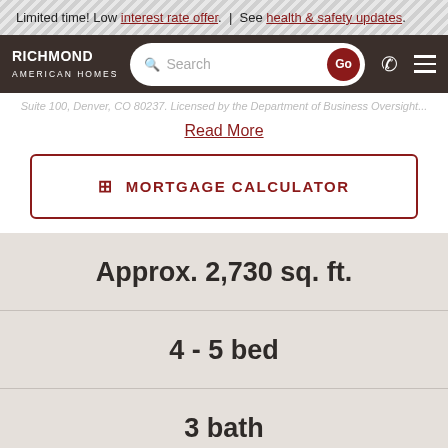Limited time! Low interest rate offer. | See health & safety updates.
[Figure (screenshot): Richmond American Homes navigation bar with logo, search box with Go button, phone icon and menu icon]
Suite 100, Denver, CO 80237. Licensed by the Department of Business Oversight...
Read More
MORTGAGE CALCULATOR
Approx. 2,730 sq. ft.
4 - 5 bed
3 bath